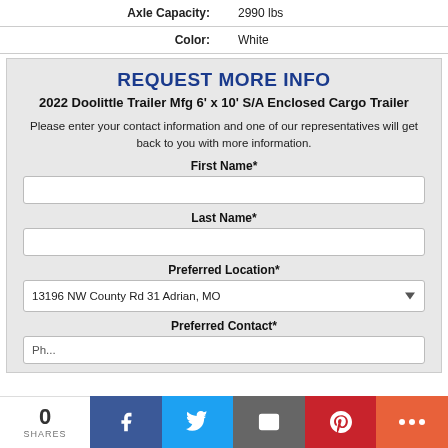| Axle Capacity: | 2990 lbs |
| Color: | White |
REQUEST MORE INFO
2022 Doolittle Trailer Mfg 6' x 10' S/A Enclosed Cargo Trailer
Please enter your contact information and one of our representatives will get back to you with more information.
First Name*
Last Name*
Preferred Location*
13196 NW County Rd 31 Adrian, MO
Preferred Contact*
0 SHARES